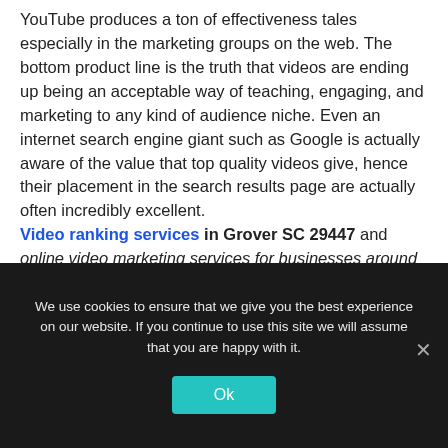YouTube produces a ton of effectiveness tales especially in the marketing groups on the web. The bottom product line is the truth that videos are ending up being an acceptable way of teaching, engaging, and marketing to any kind of audience niche. Even an internet search engine giant such as Google is actually aware of the value that top quality videos give, hence their placement in the search results page are actually often incredibly excellent. Video ranking services in Grover SC 29447 and online video marketing services for businesses around 29447 are a must have for businesses in Grover today. Give us a call today!
We use cookies to ensure that we give you the best experience on our website. If you continue to use this site we will assume that you are happy with it.